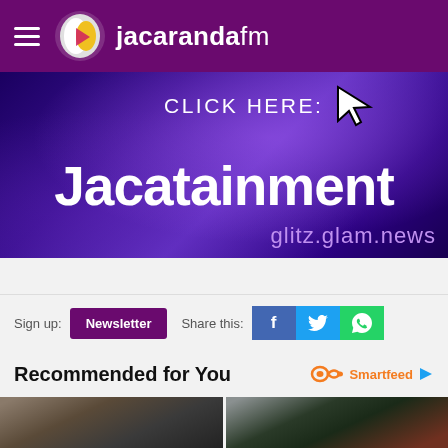jacarandafm
[Figure (screenshot): Jacatainment banner advertisement with purple/blue gradient background, text 'CLICK HERE:' with cursor icon, large text 'Jacatainment', and subtitle 'glitz.glam.news']
Sign up:  Newsletter    Share this:  [Facebook] [Twitter] [WhatsApp]
Recommended for You
Smartfeed
[Figure (photo): Two side-by-side photos of buildings with trees]